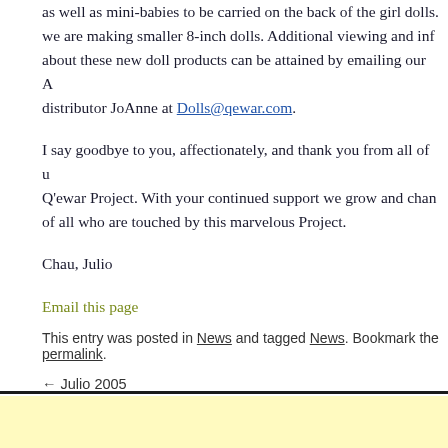as well as mini-babies to be carried on the back of the girl dolls. we are making smaller 8-inch dolls. Additional viewing and info about these new doll products can be attained by emailing our A distributor JoAnne at Dolls@qewar.com.
I say goodbye to you, affectionately, and thank you from all of u Q'ewar Project. With your continued support we grow and chan of all who are touched by this marvelous Project.
Chau, Julio
Email this page
This entry was posted in News and tagged News. Bookmark the permalink.
← Julio 2005